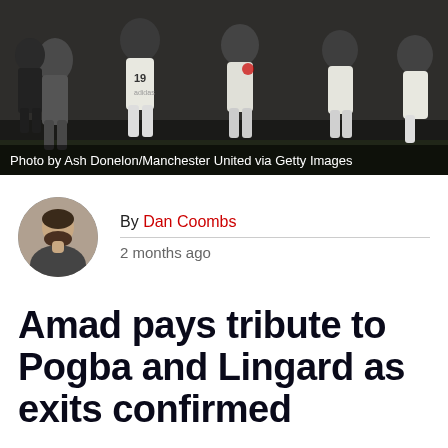[Figure (photo): Manchester United football players on a pitch, wearing white kits with numbers, including number 19]
Photo by Ash Donelon/Manchester United via Getty Images
By Dan Coombs
2 months ago
Amad pays tribute to Pogba and Lingard as exits confirmed
Manchester United youngster Amad has paid tribute to Paul Pogba and Jesse Lingard after their exits from the club were confirmed.